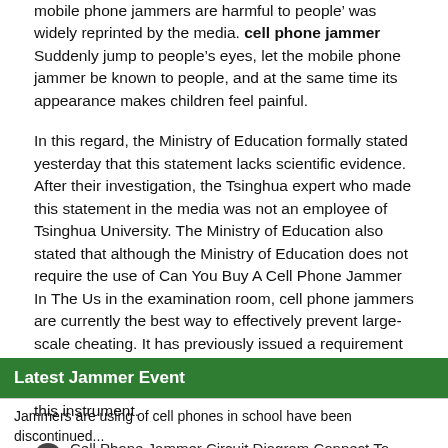mobile phone jammers are harmful to people’ was widely reprinted by the media. cell phone jammer Suddenly jump to people’s eyes, let the mobile phone jammer be known to people, and at the same time its appearance makes children feel painful.
In this regard, the Ministry of Education formally stated yesterday that this statement lacks scientific evidence. After their investigation, the Tsinghua expert who made this statement in the media was not an employee of Tsinghua University. The Ministry of Education also stated that although the Ministry of Education does not require the use of Can You Buy A Cell Phone Jammer In The Us in the examination room, cell phone jammers are currently the best way to effectively prevent large-scale cheating. It has previously issued a requirement on the safety of using mobile phone signal jammers in schools. There will be another guidance on the use of this instrument.
◀  Cell Phone Jammer Circuit Diagram Connect To The Base…
People Using Detect A Cell Phone Jammer Will Have An Imp…  ▶
Latest Jammer Event
Jammers are using of cell phones in school have been discontinued...